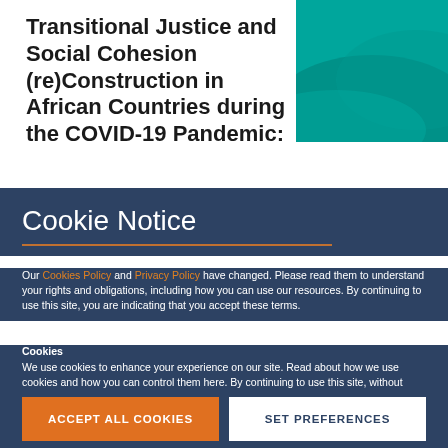Transitional Justice and Social Cohesion (re)Construction in African Countries during the COVID-19 Pandemic:
[Figure (illustration): Teal/green decorative graphic with abstract wave shapes on the top-right of the page]
Cookie Notice
Our Cookies Policy and Privacy Policy have changed. Please read them to understand your rights and obligations, including how you can use our resources. By continuing to use this site, you are indicating that you accept these terms.
Cookies
We use cookies to enhance your experience on our site. Read about how we use cookies and how you can control them here. By continuing to use this site, without changing your settings, you are indicating that you accept this policy.
ACCEPT ALL COOKIES
SET PREFERENCES